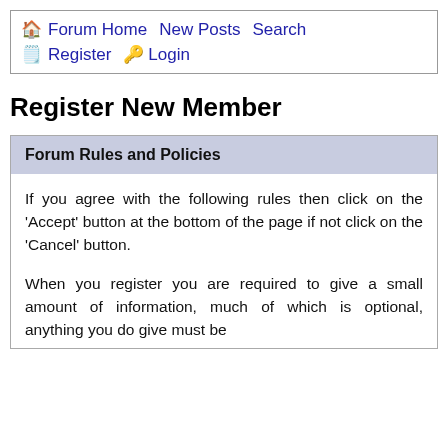🏠 Forum Home  New Posts  Search  🗒️ Register  🔑 Login
Register New Member
Forum Rules and Policies
If you agree with the following rules then click on the 'Accept' button at the bottom of the page if not click on the 'Cancel' button.
When you register you are required to give a small amount of information, much of which is optional, anything you do give must be